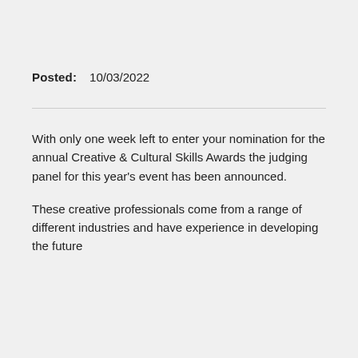Posted: 10/03/2022
With only one week left to enter your nomination for the annual Creative & Cultural Skills Awards the judging panel for this year's event has been announced.
These creative professionals come from a range of different industries and have experience in developing the future